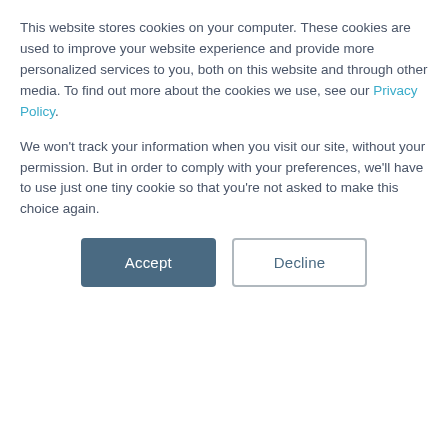This website stores cookies on your computer. These cookies are used to improve your website experience and provide more personalized services to you, both on this website and through other media. To find out more about the cookies we use, see our Privacy Policy.
We won't track your information when you visit our site, without your permission. But in order to comply with your preferences, we'll have to use just one tiny cookie so that you're not asked to make this choice again.
[Figure (other): Accept and Decline cookie consent buttons]
★★★★★ (465)
[Figure (other): Write a review purple button]